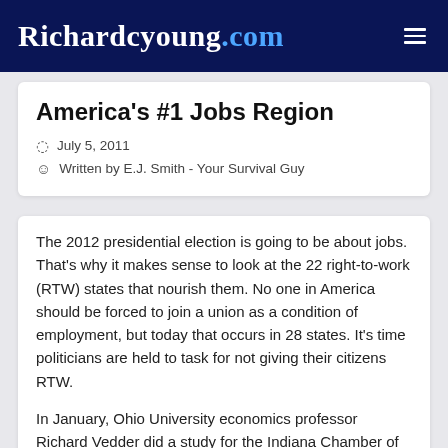Richardcyoung.com
America's #1 Jobs Region
July 5, 2011
Written by E.J. Smith - Your Survival Guy
The 2012 presidential election is going to be about jobs. That's why it makes sense to look at the 22 right-to-work (RTW) states that nourish them. No one in America should be forced to join a union as a condition of employment, but today that occurs in 28 states. It's time politicians are held to task for not giving their citizens RTW.
In January, Ohio University economics professor Richard Vedder did a study for the Indiana Chamber of Commerce showing that between 1977 and 2008, employment grew 100% in RTW states while average growth in the nation